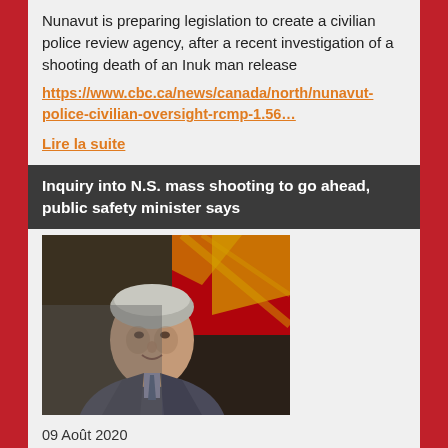Nunavut is preparing legislation to create a civilian police review agency, after a recent investigation of a shooting death of an Inuk man release
https://www.cbc.ca/news/canada/north/nunavut-police-civilian-oversight-rcmp-1.56…
Lire la suite
Inquiry into N.S. mass shooting to go ahead, public safety minister says
[Figure (photo): Photo of a man in a suit speaking at a podium with a flag in the background]
09 Août 2020